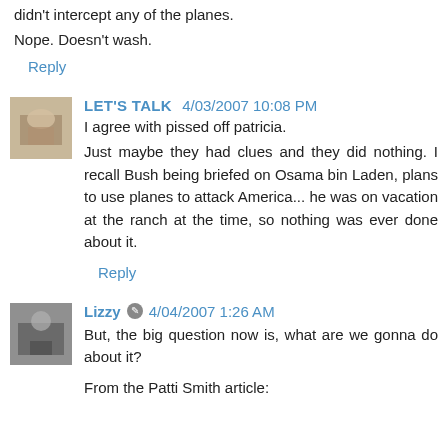didn't intercept any of the planes.
Nope. Doesn't wash.
Reply
LET'S TALK  4/03/2007 10:08 PM
I agree with pissed off patricia.
Just maybe they had clues and they did nothing. I recall Bush being briefed on Osama bin Laden, plans to use planes to attack America... he was on vacation at the ranch at the time, so nothing was ever done about it.
Reply
Lizzy  4/04/2007 1:26 AM
But, the big question now is, what are we gonna do about it?
From the Patti Smith article: